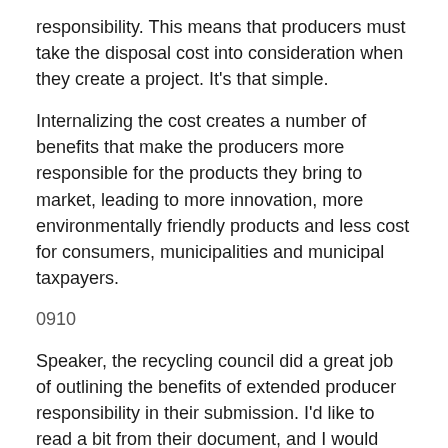responsibility. This means that producers must take the disposal cost into consideration when they create a project. It's that simple.
Internalizing the cost creates a number of benefits that make the producers more responsible for the products they bring to market, leading to more innovation, more environmentally friendly products and less cost for consumers, municipalities and municipal taxpayers.
0910
Speaker, the recycling council did a great job of outlining the benefits of extended producer responsibility in their submission. I'd like to read a bit from their document, and I would encourage my colleagues to do the same. They say that EPR, extended producer responsibility, “applies the responsibility of end-of-life management of a product and its packaging on the producer, who is seen to have the greatest ability to reduce its”—the product’s